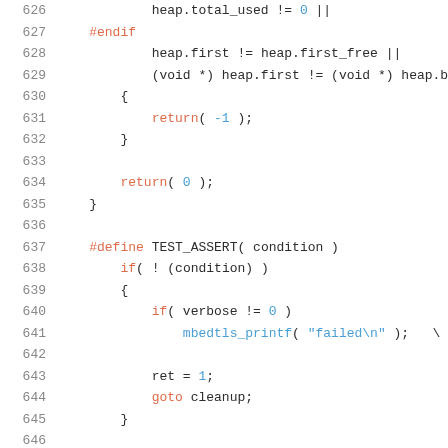[Figure (screenshot): Source code listing lines 626-646+ showing C code with syntax highlighting. Line numbers in gray on left, keywords in orange/red (#endif, #define, return, goto, if), numeric literals and string literals in blue, plain identifiers in dark.]